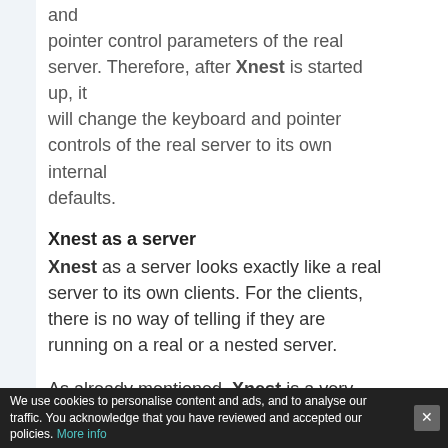and pointer control parameters of the real server. Therefore, after Xnest is started up, it will change the keyboard and pointer controls of the real server to its own internal defaults.
Xnest as a server
Xnest as a server looks exactly like a real server to its own clients. For the clients, there is no way of telling if they are running on a real or a nested server.
As already mentioned, Xnest is a very
We use cookies to personalise content and ads, and to analyse our traffic. You acknowledge that you have reviewed and accepted our policies. More info